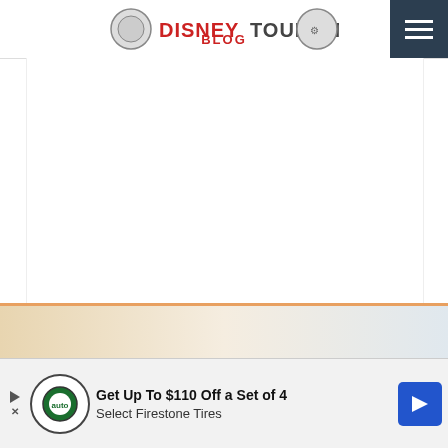DISNEYTOURISTBLOG
[Figure (other): White blank area (advertisement or image placeholder)]
With that out of the way, we will start off with our favorite hotels near Disneyland in a variety of categories, and then discuss the reasons to stay on-site versus the big advantage of staying off-site…
10 BEST HOTELS NEAR DISNEYLAND
[Figure (other): Advertisement banner: Get Up To $110 Off a Set of 4 Select Firestone Tires with auto logo and blue arrow button]